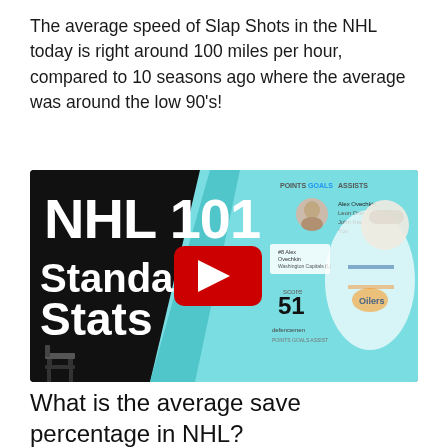The average speed of Slap Shots in the NHL today is right around 100 miles per hour, compared to 10 seasons ago where the average was around the low 90's!
[Figure (screenshot): YouTube video thumbnail for 'NHL 101 Standard Stats' featuring large white bold text on dark background on left, a play button in the center, and an NHL player in an Oilers jersey on the right with a stats panel overlay]
What is the average save percentage in NHL?